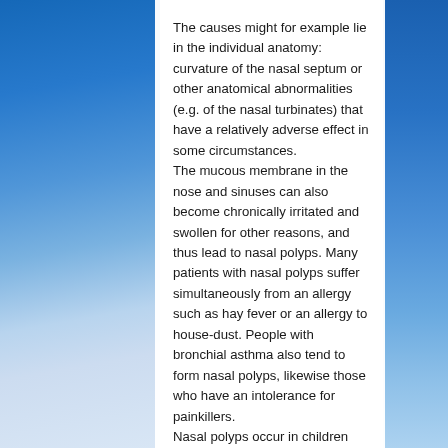The causes might for example lie in the individual anatomy: curvature of the nasal septum or other anatomical abnormalities (e.g. of the nasal turbinates) that have a relatively adverse effect in some circumstances.
The mucous membrane in the nose and sinuses can also become chronically irritated and swollen for other reasons, and thus lead to nasal polyps. Many patients with nasal polyps suffer simultaneously from an allergy such as hay fever or an allergy to house-dust. People with bronchial asthma also tend to form nasal polyps, likewise those who have an intolerance for painkillers.
Nasal polyps occur in children only very rarely, with one exception: about one-third of all children suffering from the